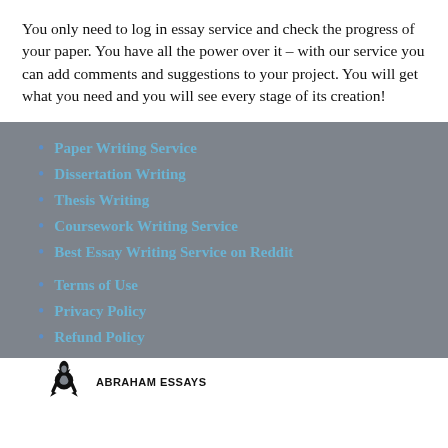You only need to log in essay service and check the progress of your paper. You have all the power over it – with our service you can add comments and suggestions to your project. You will get what you need and you will see every stage of its creation!
Paper Writing Service
Dissertation Writing
Thesis Writing
Coursework Writing Service
Best Essay Writing Service on Reddit
Terms of Use
Privacy Policy
Refund Policy
[Figure (logo): Abraham Essays logo with crossed pen and torch icon above text ABRAHAM ESSAYS]